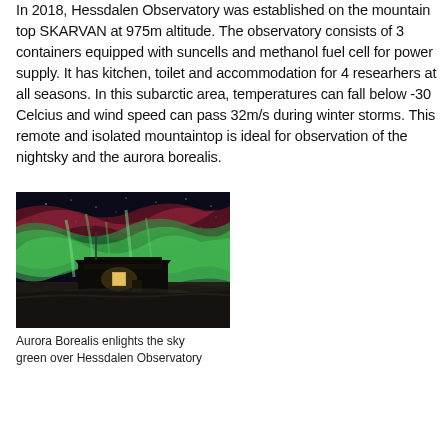In 2018, Hessdalen Observatory was established on the mountain top SKARVAN at 975m altitude. The observatory consists of 3 containers equipped with suncells and methanol fuel cell for power supply. It has kitchen, toilet and accommodation for 4 researhers at all seasons. In this subarctic area, temperatures can fall below -30 Celcius and wind speed can pass 32m/s during winter storms. This remote and isolated mountaintop is ideal for observation of the nightsky and the aurora borealis.
[Figure (photo): Night photograph of Hessdalen Observatory building with aurora borealis lighting the sky green and red above it.]
Aurora Borealis enlights the sky green over Hessdalen Observatory